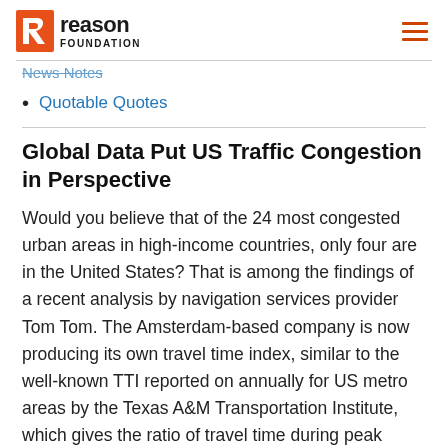Reason Foundation
News Notes
Quotable Quotes
Global Data Put US Traffic Congestion in Perspective
Would you believe that of the 24 most congested urban areas in high-income countries, only four are in the United States? That is among the findings of a recent analysis by navigation services provider Tom Tom. The Amsterdam-based company is now producing its own travel time index, similar to the well-known TTI reported on annually for US metro areas by the Texas A&M Transportation Institute, which gives the ratio of travel time during peak